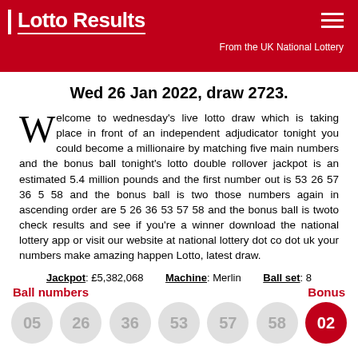Lotto Results — From the UK National Lottery
Wed 26 Jan 2022, draw 2723.
Welcome to wednesday's live lotto draw which is taking place in front of an independent adjudicator tonight you could become a millionaire by matching five main numbers and the bonus ball tonight's lotto double rollover jackpot is an estimated 5.4 million pounds and the first number out is 53 26 57 36 5 58 and the bonus ball is two those numbers again in ascending order are 5 26 36 53 57 58 and the bonus ball is twoto check results and see if you're a winner download the national lottery app or visit our website at national lottery dot co dot uk your numbers make amazing happen Lotto, latest draw.
Jackpot: £5,382,068   Machine: Merlin   Ball set: 8
Ball numbers   Bonus
05  26  36  53  57  58  02